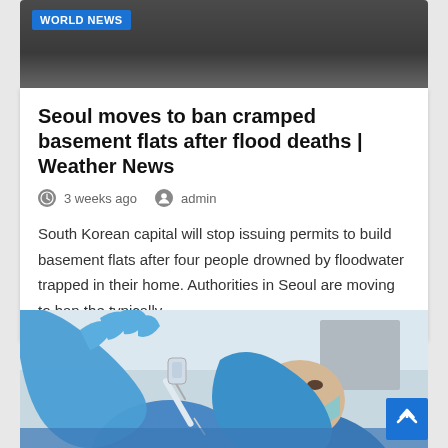[Figure (photo): Dark background image at top of news card]
WORLD NEWS
Seoul moves to ban cramped basement flats after flood deaths | Weather News
3 weeks ago   admin
South Korean capital will stop issuing permits to build basement flats after four people drowned by floodwater trapped in their home. Authorities in Seoul are moving to ban the typically…
[Figure (photo): Healthcare worker wearing blue gloves and face mask drawing up vaccine with syringe]